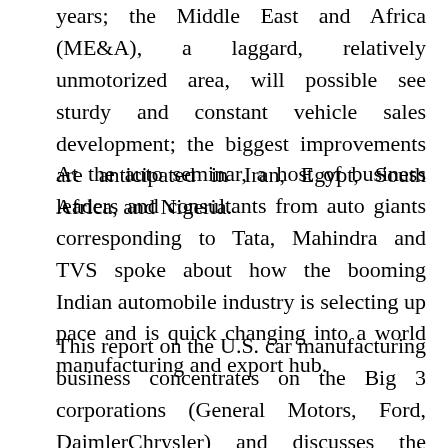years; the Middle East and Africa (ME&A), a laggard, relatively unmotorized area, will possible see sturdy and constant vehicle sales development; the biggest improvements are anticipated in Iran, Egypt, South Africa, and Nigeria.
At the auto seminar, a host of business leaders and consultants from auto giants corresponding to Tata, Mahindra and TVS spoke about how the booming Indian automobile industry is selecting up pace and is quick changing into a world manufacturing and export hub.
This report on the U.S. car manufacturing business concentrates on the Big 3 corporations (General Motors, Ford, DaimlerChrysler) and discusses the situation of the industry and other about the